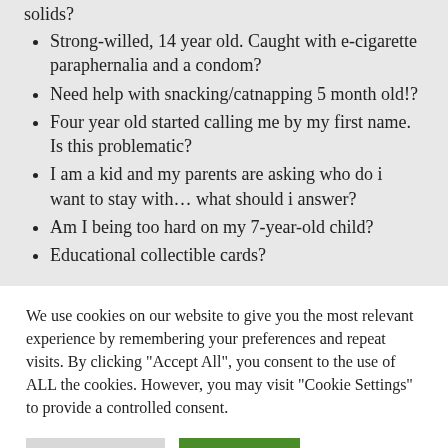solids?
Strong-willed, 14 year old. Caught with e-cigarette paraphernalia and a condom?
Need help with snacking/catnapping 5 month old!?
Four year old started calling me by my first name. Is this problematic?
I am a kid and my parents are asking who do i want to stay with... what should i answer?
Am I being too hard on my 7-year-old child?
Educational collectible cards?
We use cookies on our website to give you the most relevant experience by remembering your preferences and repeat visits. By clicking "Accept All", you consent to the use of ALL the cookies. However, you may visit "Cookie Settings" to provide a controlled consent.
Cookie Settings | Accept All